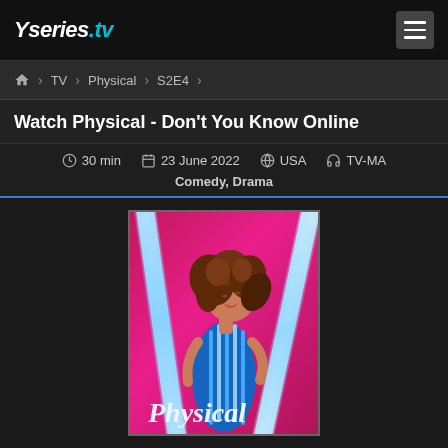Yseries.tv
🏠 > TV > Physical > S2E4
Watch Physical - Don't You Know Online
30 min | 23 June 2022 | USA | TV-MA
Comedy, Drama
[Figure (photo): Promotional poster for the TV show 'Physical' featuring a woman with curly hair wearing a striped leotard on a pink background with neon light bars and the word 'Physical' in script at the bottom.]